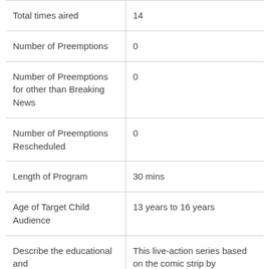| Total times aired | 14 |
| Number of Preemptions | 0 |
| Number of Preemptions for other than Breaking News | 0 |
| Number of Preemptions Rescheduled | 0 |
| Length of Program | 30 mins |
| Age of Target Child Audience | 13 years to 16 years |
| Describe the educational and | This live-action series based on the comic strip by |